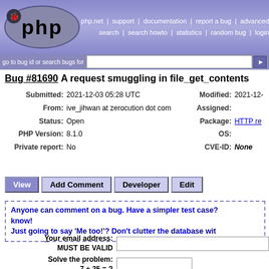[Figure (logo): PHP bug tracker header with PHP logo on blue/purple gradient background and navigation links: php.net, support, documentation, report a bug, advanced search, search howto, statistics, random bug, login]
go to bug id or search bugs for [input field] [submit button]
Bug #81690 A request smuggling in file_get_contents
| Submitted: | 2021-12-03 05:28 UTC | Modified: | 2021-12-... |
| From: | ive_jihwan at zerocution dot com | Assigned: |  |
| Status: | Open | Package: | HTTP re... |
| PHP Version: | 8.1.0 | OS: |  |
| Private report: | No | CVE-ID: | None |
View | Add Comment | Developer | Edit
Anyone can comment on a bug. Have a simpler test case? know! Just going to say 'Me too!'? Don't clutter the database wit...
Your email address: MUST BE VALID
Solve the problem: 7 + 35 = ?